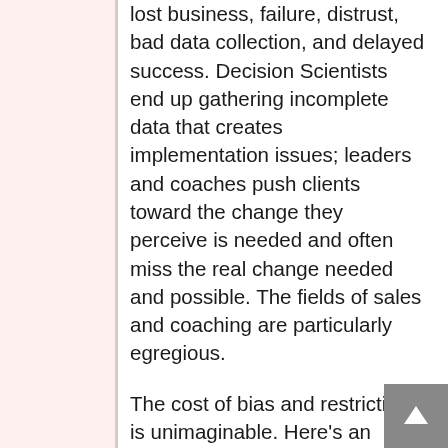lost business, failure, distrust, bad data collection, and delayed success. Decision Scientists end up gathering incomplete data that creates implementation issues; leaders and coaches push clients toward the change they perceive is needed and often miss the real change needed and possible. The fields of sales and coaching are particularly egregious.
The cost of bias and restriction is unimaginable. Here’s an especially unfortunate example of a well-respected research company that delayed the discovery of important findings due to the biases informing their research questions. I got a call from one of the founders of